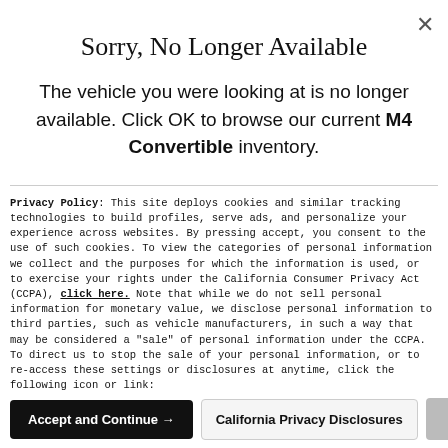[Figure (other): Close button (X) in top right corner]
Sorry, No Longer Available
The vehicle you were looking at is no longer available. Click OK to browse our current M4 Convertible inventory.
Privacy Policy: This site deploys cookies and similar tracking technologies to build profiles, serve ads, and personalize your experience across websites. By pressing accept, you consent to the use of such cookies. To view the categories of personal information we collect and the purposes for which the information is used, or to exercise your rights under the California Consumer Privacy Act (CCPA), click here. Note that while we do not sell personal information for monetary value, we disclose personal information to third parties, such as vehicle manufacturers, in such a way that may be considered a "sale" of personal information under the CCPA. To direct us to stop the sale of your personal information, or to re-access these settings or disclosures at anytime, click the following icon or link:
Do Not Sell My Personal Information
Language: English
Powered by ComplyAuto
Accept and Continue →
California Privacy Disclosures